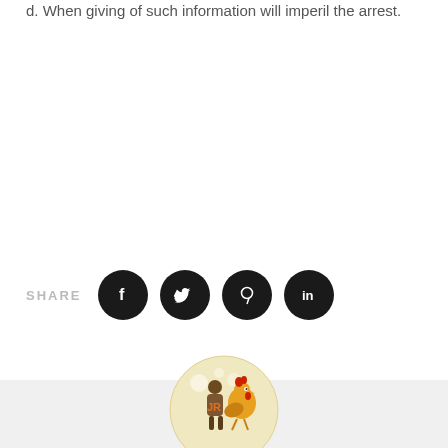d. When giving of such information will imperil the arrest.
[Figure (infographic): Social media share icons: Facebook, Twitter, Pinterest, LinkedIn — black circles with white icons, preceded by 'SHARE' label in light gray uppercase letters]
[Figure (illustration): Circular avatar/logo with cream background showing illustrated figures — a person in a suit and a rooster/chicken character, with 'JR' text in orange]